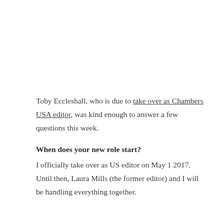Toby Eccleshall, who is due to take over as Chambers USA editor, was kind enough to answer a few questions this week.
When does your new role start?
I officially take over as US editor on May 1 2017. Until then, Laura Mills (the former editor) and I will be handling everything together.